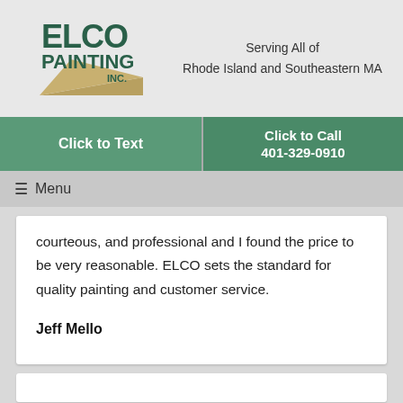[Figure (logo): ELCO Painting Inc. logo with green text and a tan triangle/brush shape]
Serving All of
Rhode Island and Southeastern MA
Click to Text
Click to Call
401-329-0910
≡  Menu
courteous, and professional and I found the price to be very reasonable. ELCO sets the standard for quality painting and customer service.

Jeff Mello